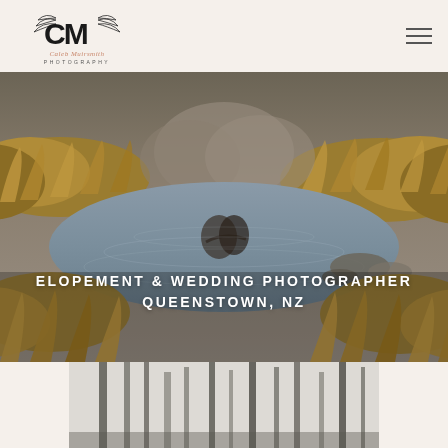[Figure (logo): Caleb Muirsmith Photography logo — stylized CM monogram with botanical line art and script text]
[Figure (photo): Landscape nature photo showing a reflective pool or stream with tussock grass and a couple reflected in the water]
ELOPEMENT & WEDDING PHOTOGRAPHER QUEENSTOWN, NZ
[Figure (photo): Black and white photo partially visible at bottom of page showing trees or forest scene]